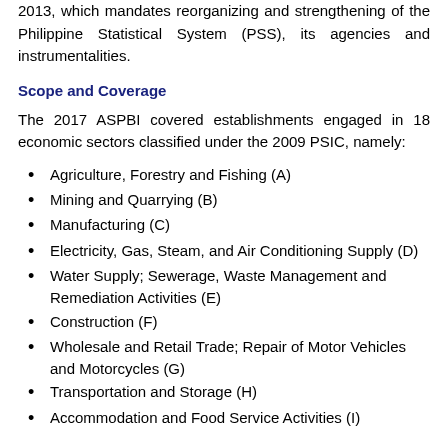2013, which mandates reorganizing and strengthening of the Philippine Statistical System (PSS), its agencies and instrumentalities.
Scope and Coverage
The 2017 ASPBI covered establishments engaged in 18 economic sectors classified under the 2009 PSIC, namely:
Agriculture, Forestry and Fishing (A)
Mining and Quarrying (B)
Manufacturing (C)
Electricity, Gas, Steam, and Air Conditioning Supply (D)
Water Supply; Sewerage, Waste Management and Remediation Activities (E)
Construction (F)
Wholesale and Retail Trade; Repair of Motor Vehicles and Motorcycles (G)
Transportation and Storage (H)
Accommodation and Food Service Activities (I)